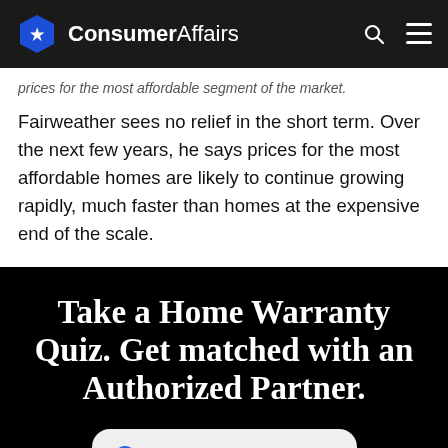ConsumerAffairs
prices for the most affordable segment of the market.
Fairweather sees no relief in the short term. Over the next few years, he says prices for the most affordable homes are likely to continue growing rapidly, much faster than homes at the expensive end of the scale.
Take a Home Warranty Quiz. Get matched with an Authorized Partner.
ZIP Code